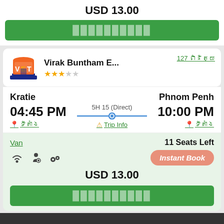USD 13.00
██████████
[Figure (logo): Virak Buntham Express logo - VET letters on orange/blue bus building design]
Virak Buntham E...
3.5 star rating
127 ពិនិត្យឡើងវិញ
Kratie
Phnom Penh
04:45 PM
5H 15 (Direct)
10:00 PM
ទីតាំង
Trip Info
ទីតាំង
Van
11 Seats Left
Instant Book
USD 13.00
██████████